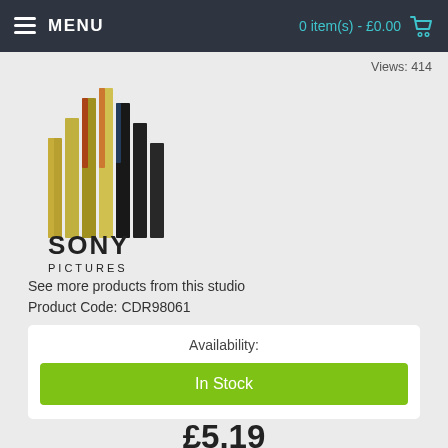MENU   0 item(s) - £0.00
Views: 414
[Figure (logo): Sony Pictures logo with vertical bars and SONY PICTURES text]
See more products from this studio
Product Code: CDR98061
Availability:
In Stock
£5.19
ADD TO CART
Add to Wish List